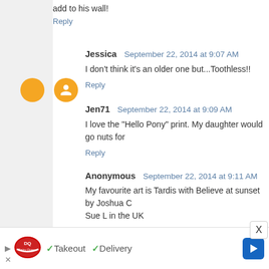add to his wall!
Reply
Jessica  September 22, 2014 at 9:07 AM
I don't think it's an older one but...Toothless!!
Reply
Jen71  September 22, 2014 at 9:09 AM
I love the "Hello Pony" print. My daughter would go nuts for
Reply
Anonymous  September 22, 2014 at 9:11 AM
My favourite art is Tardis with Believe at sunset by Joshua C Sue L in the UK
Reply
kpgoers  September 22, 2014 at 9:16 AM
[Figure (infographic): Dairy Queen advertisement bar: DQ logo, Takeout and Delivery options with checkmarks, navigation arrow icon]